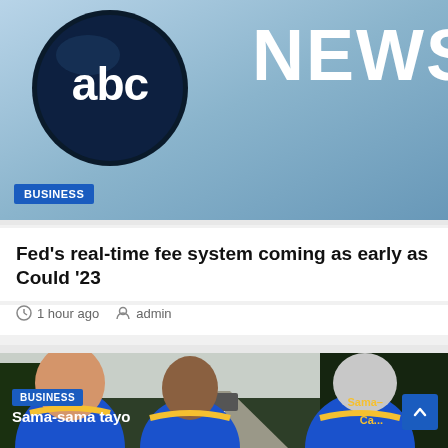[Figure (logo): ABC News logo with 'abc' in circle and 'NEWS' text on blue gradient background with BUSINESS badge]
Fed's real-time fee system coming as early as Could '23
1 hour ago  admin
[Figure (photo): People wearing blue and yellow uniforms viewed from behind, looking down a rural road with palm trees. BUSINESS badge and 'Sama-sама tayo' text overlay at bottom.]